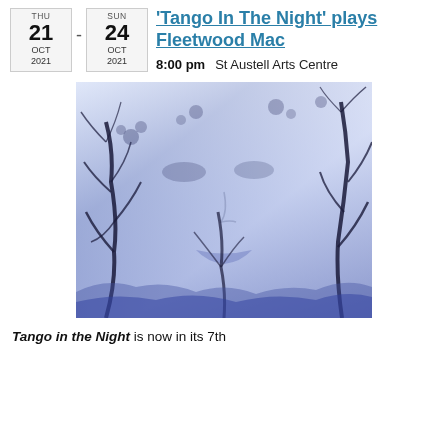'Tango In The Night' plays Fleetwood Mac
8:00 pm  St Austell Arts Centre
[Figure (photo): Double exposure artistic photo combining a woman's face with bare winter trees silhouetted against a blue-purple sky]
Tango in the Night is now in its 7th